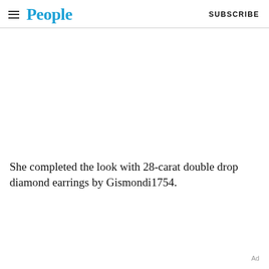People | SUBSCRIBE
[Figure (photo): Empty white image placeholder area]
She completed the look with 28-carat double drop diamond earrings by Gismondi1754.
Ad